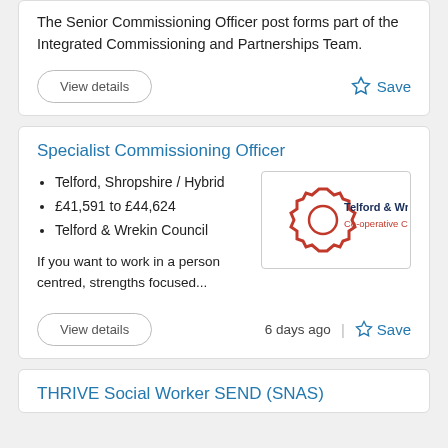The Senior Commissioning Officer post forms part of the Integrated Commissioning and Partnerships Team.
View details | Save
Specialist Commissioning Officer
Telford, Shropshire / Hybrid
£41,591 to £44,624
Telford & Wrekin Council
[Figure (logo): Telford & Wrekin Co-operative Council logo — red hexagon outline with text]
If you want to work in a person centred, strengths focused...
6 days ago | View details | Save
THRIVE Social Worker SEND (SNAS)